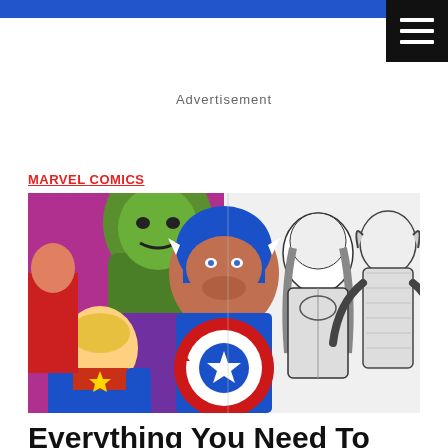Advertisement
MARVEL COMICS
[Figure (illustration): Marvel Comics superhero illustration showing Captain America, Hulk, Captain Marvel, and other Avengers characters in a comic book art style. Left half is in color, right half is in black and white pencil art.]
Everything You Need To